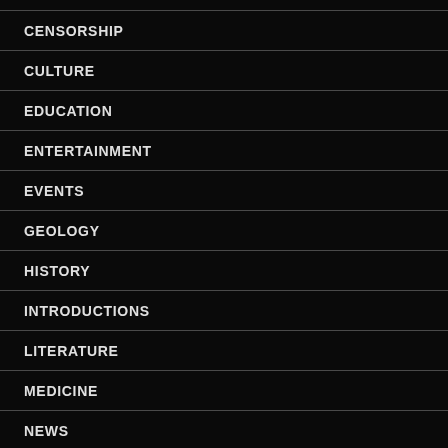CENSORSHIP
CULTURE
EDUCATION
ENTERTAINMENT
EVENTS
GEOLOGY
HISTORY
INTRODUCTIONS
LITERATURE
MEDICINE
NEWS
PALEONTOLOGY